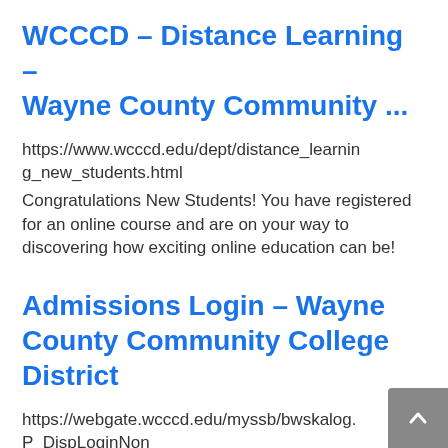WCCCD – Distance Learning – Wayne County Community ...
https://www.wcccd.edu/dept/distance_learning_new_students.html
Congratulations New Students! You have registered for an online course and are on your way to discovering how exciting online education can be!
Admissions Login – Wayne County Community College District
https://webgate.wcccd.edu/myssb/bwskalog.P_DispLoginNon
If you are a returning user enter your Login